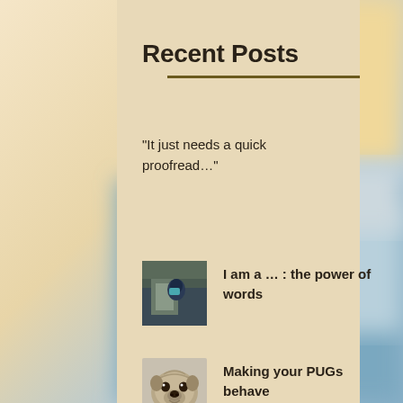Recent Posts
“It just needs a quick proofread…”
I am a … : the power of words
Making your PUGs behave